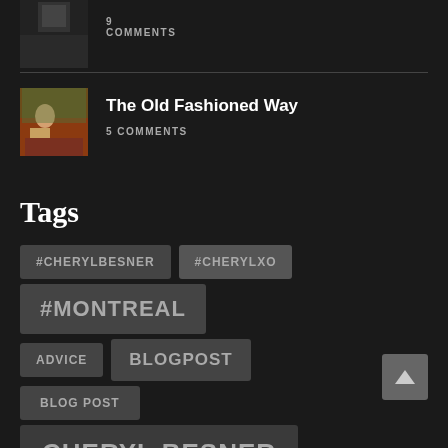9 COMMENTS
[Figure (photo): Thumbnail image - dark photo]
[Figure (photo): Painting thumbnail - person sitting]
The Old Fashioned Way
5 COMMENTS
Tags
#CHERYLBESNER
#CHERYLXO
#MONTREAL
ADVICE
BLOGPOST
BLOG POST
CHERYL BESNER
CRASH
COMMUNICATION